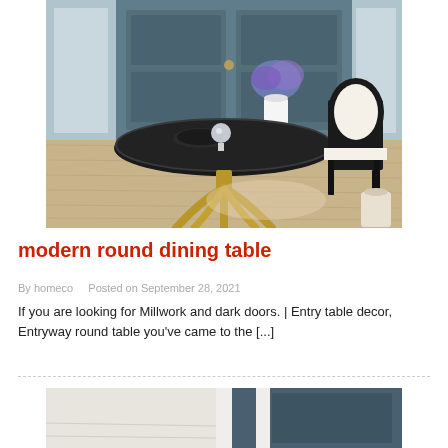[Figure (photo): Interior room photo showing a round dark-top dining table with gold/brass curved legs on a light wood floor, with a white oval chair, dark grey paneled doors, and purple flowers in background.]
modern round dining table
By homeco   Posted on September 28, 2021
If you are looking for Millwork and dark doors. | Entry table decor, Entryway round table you've came to the [...]
[Figure (photo): Partial view of another interior photo at the bottom of the page.]